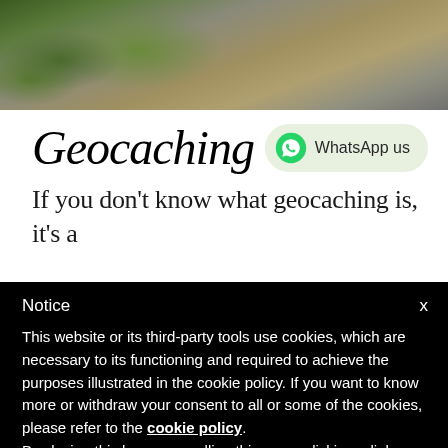[Figure (photo): Aerial or close-up photo of a grassy hillside and gravel/dirt path area with green vegetation on the left and brown gravelly ground on the right]
Geocaching
[Figure (logo): WhatsApp us button: green WhatsApp logo icon on a light green rounded pill button with text 'WhatsApp us']
If you don't know what geocaching is, it's a
Notice
This website or its third-party tools use cookies, which are necessary to its functioning and required to achieve the purposes illustrated in the cookie policy. If you want to know more or withdraw your consent to all or some of the cookies, please refer to the cookie policy.
By closing this banner, scrolling this page, clicking a link or continuing to browse otherwise, you agree to the use of cookies.